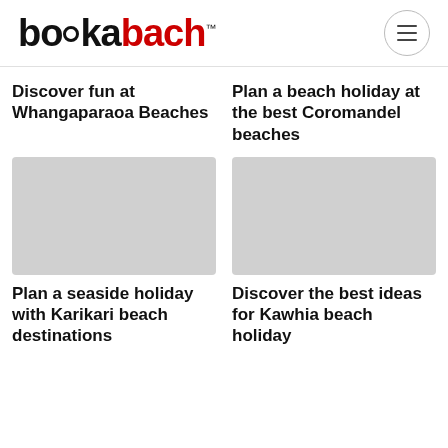bookabach™
Discover fun at Whangaparaoa Beaches
Plan a beach holiday at the best Coromandel beaches
[Figure (photo): Placeholder image (light grey rectangle) for Karikari beach article]
[Figure (photo): Placeholder image (light grey rectangle) for Kawhia beach article]
Plan a seaside holiday with Karikari beach destinations
Discover the best ideas for Kawhia beach holiday